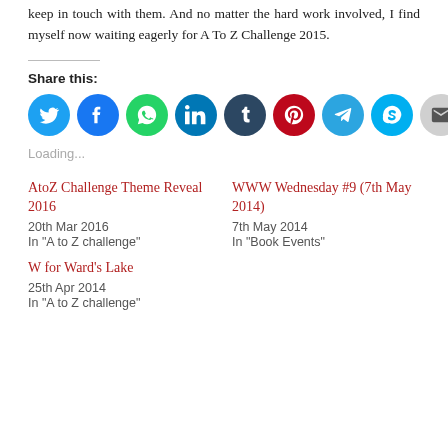keep in touch with them. And no matter the hard work involved, I find myself now waiting eagerly for A To Z Challenge 2015.
Share this:
[Figure (infographic): Row of circular social media share icons: Twitter (blue), Facebook (blue), WhatsApp (green), LinkedIn (blue), Tumblr (dark blue), Pinterest (red), Telegram (blue), Skype (blue), Email (grey)]
Loading...
AtoZ Challenge Theme Reveal 2016
20th Mar 2016
In "A to Z challenge"
WWW Wednesday #9 (7th May 2014)
7th May 2014
In "Book Events"
W for Ward's Lake
25th Apr 2014
In "A to Z challenge"